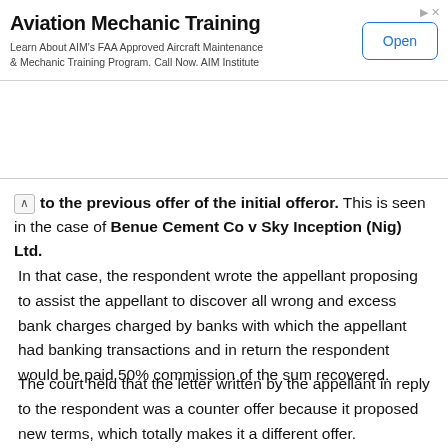[Figure (other): Advertisement banner for Aviation Mechanic Training by AIM Institute with an Open button]
to the previous offer of the initial offeror. This is seen in the case of Benue Cement Co v Sky Inception (Nig) Ltd.
In that case, the respondent wrote the appellant proposing to assist the appellant to discover all wrong and excess bank charges charged by banks with which the appellant had banking transactions and in return the respondent would be paid 50% commission of the sum recovered.
The court held that the letter written by the appellant in reply to the respondent was a counter offer because it proposed new terms, which totally makes it a different offer. Accordingly, there is no counter offer unless it creates a power of acceptance to the previous offeror.